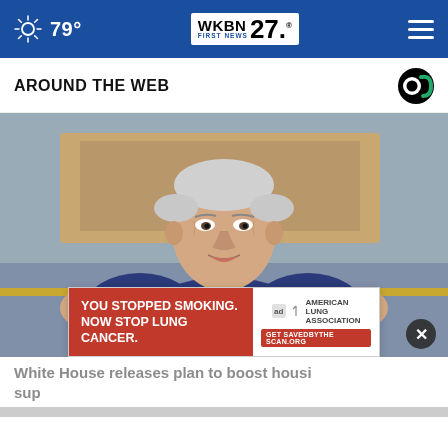79° WKBN FIRST NEWS 27
AROUND THE WEB
[Figure (photo): Photo of a man in a navy suit with blue tie speaking at microphones, gesturing with both hands raised, with a painting visible in background]
White House releases plan to boost housing supply
[Figure (infographic): Advertisement overlay: 'YOU STOPPED SMOKING. NOW STOP LUNG CANCER.' with American Lung Association branding and Get SAVEDBYTHEBECAN.ORG call to action]